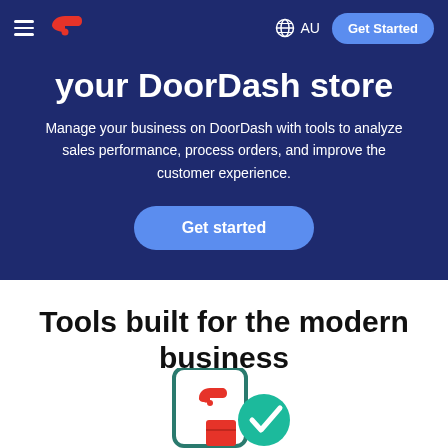[Figure (screenshot): DoorDash navigation bar with hamburger menu, DoorDash logo, globe icon with AU label, and Get Started button]
your DoorDash store
Manage your business on DoorDash with tools to analyze sales performance, process orders, and improve the customer experience.
Get started
Tools built for the modern business
[Figure (illustration): Phone with DoorDash logo and a teal checkmark circle icon, partially visible at the bottom of the page]